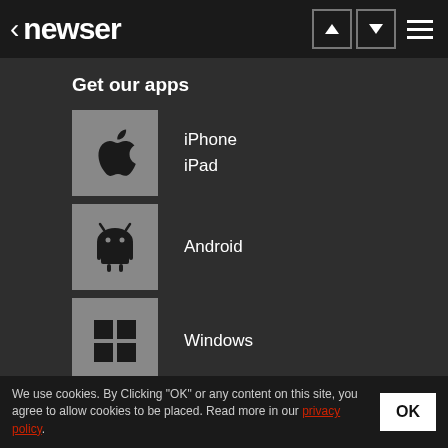< newser
Get our apps
iPhone
iPad
Android
Windows
Suggest a Story
Settings
Contact
We use cookies. By Clicking "OK" or any content on this site, you agree to allow cookies to be placed. Read more in our privacy policy.